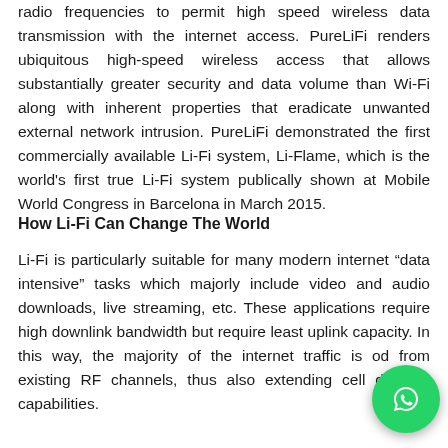radio frequencies to permit high speed wireless data transmission with the internet access. PureLiFi renders ubiquitous high-speed wireless access that allows substantially greater security and data volume than Wi-Fi along with inherent properties that eradicate unwanted external network intrusion. PureLiFi demonstrated the first commercially available Li-Fi system, Li-Flame, which is the world's first true Li-Fi system publically shown at Mobile World Congress in Barcelona in March 2015.
How Li-Fi Can Change The World
Li-Fi is particularly suitable for many modern internet “data intensive” tasks which majorly include video and audio downloads, live streaming, etc. These applications require high downlink bandwidth but require least uplink capacity. In this way, the majority of the internet traffic is offloaded from existing RF channels, thus also extending cellular and Wi-Fi capabilities.